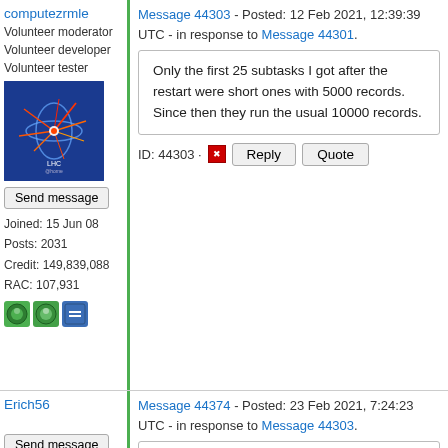computezrmle
Volunteer moderator
Volunteer developer
Volunteer tester
[Figure (photo): LHC@home avatar image showing particle collision on blue background]
Send message
Joined: 15 Jun 08
Posts: 2031
Credit: 149,839,088
RAC: 107,931
Message 44303 - Posted: 12 Feb 2021, 12:39:39 UTC - in response to Message 44301.
Only the first 25 subtasks I got after the restart were short ones with 5000 records.
Since then they run the usual 10000 records.
ID: 44303 · Reply Quote
Erich56
Send message
Joined: 18 Dec 15
Posts: 1524
Credit: 47,136,931
Message 44374 - Posted: 23 Feb 2021, 7:24:23 UTC - in response to Message 44303.
having another problem since last night, see here:
https://lhcathome.cern.ch/lhcathome/res